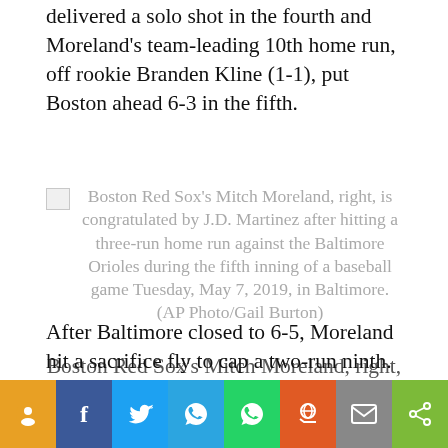delivered a solo shot in the fourth and Moreland's team-leading 10th home run, off rookie Branden Kline (1-1), put Boston ahead 6-3 in the fifth.
[Figure (photo): Broken image placeholder with caption: Boston Red Sox's Mitch Moreland, right, is congratulated by J.D. Martinez after hitting a three-run home run against the Baltimore Orioles during the fifth inning of a baseball game Tuesday, May 7, 2019, in Baltimore. (AP Photo/Gail Burton)]
Boston Red Sox's Mitch Moreland, right, is congratulated by J.D. Martinez after hitting a three-run home run against the Baltimore Orioles during the fifth inning of a baseball game Tuesday, May 7, 2019, in Baltimore. (AP Photo/Gail Burton)
After Baltimore closed to 6-5, Moreland hit a sacrifice fly to cap a two-run ninth.
Rio … a bas… 3-3